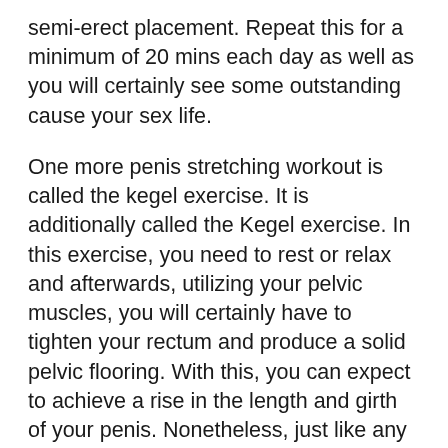semi-erect placement. Repeat this for a minimum of 20 mins each day as well as you will certainly see some outstanding cause your sex life.
One more penis stretching workout is called the kegel exercise. It is additionally called the Kegel exercise. In this exercise, you need to rest or relax and afterwards, utilizing your pelvic muscles, you will certainly have to tighten your rectum and produce a solid pelvic flooring. With this, you can expect to achieve a rise in the length and girth of your penis. Nonetheless, just like any type of penis stretching exercises, this technique needs technique as well as emphasis in order to attain the very best results.